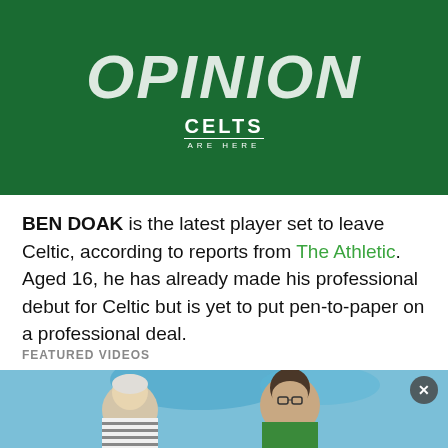[Figure (logo): Dark green banner with italic bold white text 'OPINION' and below it the 'CELTS ARE HERE' logo in white]
BEN DOAK is the latest player set to leave Celtic, according to reports from The Athletic. Aged 16, he has already made his professional debut for Celtic but is yet to put pen-to-paper on a professional deal.
FEATURED VIDEOS
[Figure (photo): Two men sitting outdoors with blue umbrella visible in background; one with white/grey hair wearing striped shirt, one with dark hair wearing glasses and green top; close button (X) visible top right of thumbnail]